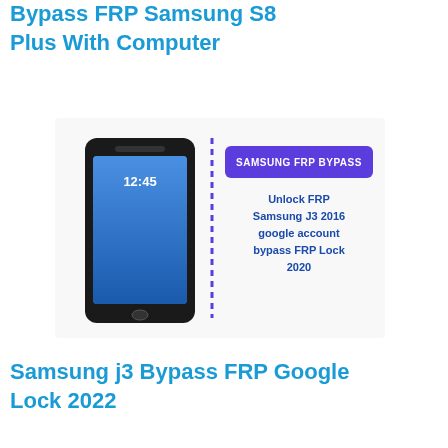Bypass FRP Samsung S8 Plus With Computer
[Figure (photo): Thumbnail image showing a Samsung Galaxy J3 phone next to a graphic with text 'Samsung FRP Bypass - Unlock FRP Samsung J3 2016 google account bypass FRP Lock 2020']
Samsung j3 Bypass FRP Google Lock 2022